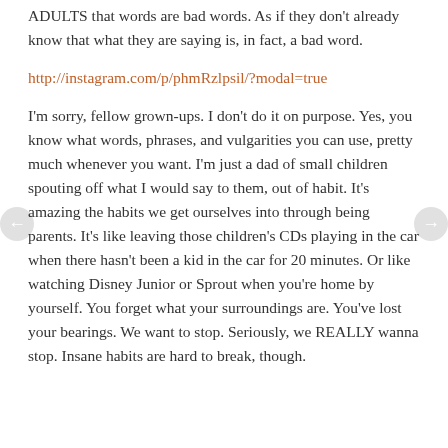ADULTS that words are bad words. As if they don't already know that what they are saying is, in fact, a bad word.
http://instagram.com/p/phmRzlpsil/?modal=true
I'm sorry, fellow grown-ups. I don't do it on purpose. Yes, you know what words, phrases, and vulgarities you can use, pretty much whenever you want. I'm just a dad of small children spouting off what I would say to them, out of habit. It's amazing the habits we get ourselves into through being parents. It's like leaving those children's CDs playing in the car when there hasn't been a kid in the car for 20 minutes. Or like watching Disney Junior or Sprout when you're home by yourself. You forget what your surroundings are. You've lost your bearings. We want to stop. Seriously, we REALLY wanna stop. Insane habits are hard to break, though.